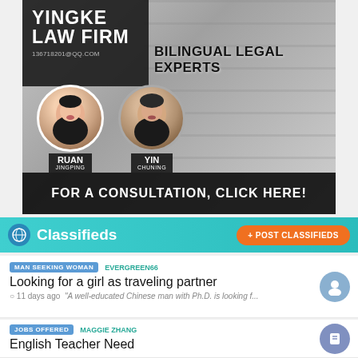[Figure (illustration): Yingke Law Firm advertisement banner with two lawyers (Ruan Jingping and Yin Chuning), text 'BILINGUAL LEGAL EXPERTS', contact email 136718201@QQ.COM, and call-to-action 'FOR A CONSULTATION, CLICK HERE!']
Classifieds
+ POST CLASSIFIEDS
MAN SEEKING WOMAN  EVERGREEN66
Looking for a girl as traveling partner
11 days ago  "A well-educated Chinese man with Ph.D. is looking f..."
JOBS OFFERED  MAGGIE ZHANG
English Teacher Need